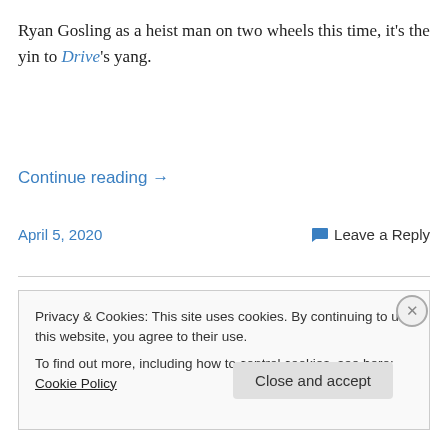Ryan Gosling as a heist man on two wheels this time, it's the yin to Drive's yang.
Continue reading →
April 5, 2020
Leave a Reply
Privacy & Cookies: This site uses cookies. By continuing to use this website, you agree to their use.
To find out more, including how to control cookies, see here: Cookie Policy
Close and accept